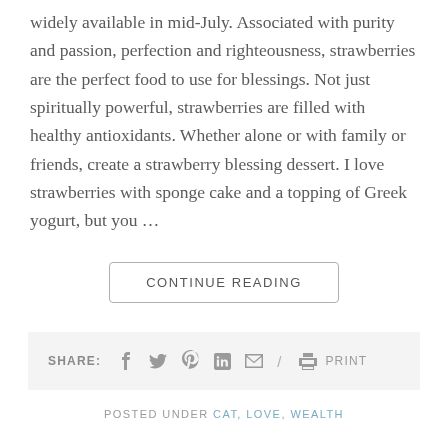widely available in mid-July. Associated with purity and passion, perfection and righteousness, strawberries are the perfect food to use for blessings. Not just spiritually powerful, strawberries are filled with healthy antioxidants. Whether alone or with family or friends, create a strawberry blessing dessert. I love strawberries with sponge cake and a topping of Greek yogurt, but you …
CONTINUE READING
SHARE: [social icons] / PRINT
POSTED UNDER CAT, LOVE, WEALTH